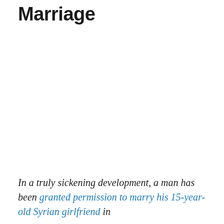Marriage
In a truly sickening development, a man has been granted permission to marry his 15-year-old Syrian girlfriend in